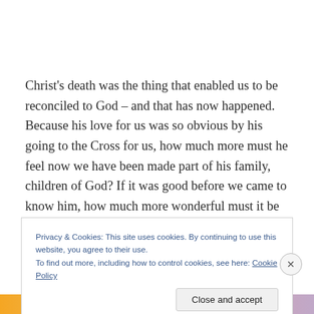Christ's death was the thing that enabled us to be reconciled to God – and that has now happened. Because his love for us was so obvious by his going to the Cross for us, how much more must he feel now we have been made part of his family, children of God? If it was good before we came to know him, how much more wonderful must it be not that we have come to know him.
Privacy & Cookies: This site uses cookies. By continuing to use this website, you agree to their use.
To find out more, including how to control cookies, see here: Cookie Policy